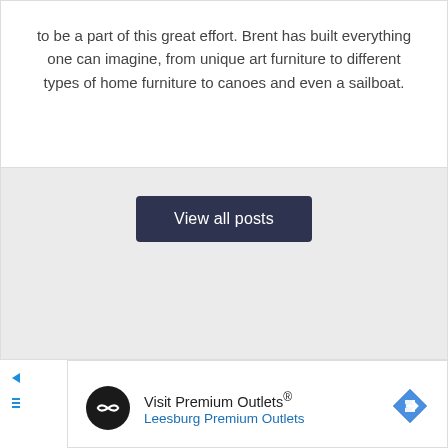to be a part of this great effort. Brent has built everything one can imagine, from unique art furniture to different types of home furniture to canoes and even a sailboat.
View all posts
[Figure (screenshot): Advertisement banner for Visit Premium Outlets - Leesburg Premium Outlets, showing a dark circular logo with chain-link icon and a blue navigation arrow icon.]